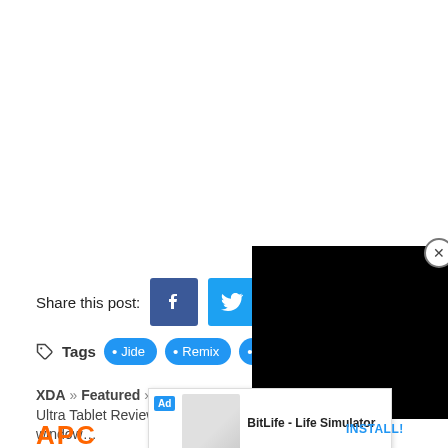Share this post:
Tags  • Jide  • Remix  • Rev…
XDA » Featured » Jide Remix Ultra Tablet Review: Multi-window…
[Figure (screenshot): Black video player overlay in top-right corner with close (X) button]
[Figure (screenshot): Ad banner showing BitLife - Life Simulator with INSTALL! button]